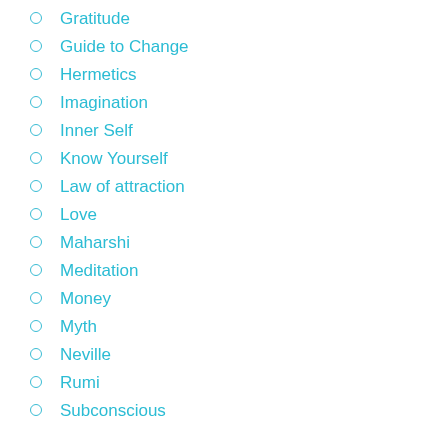Gratitude
Guide to Change
Hermetics
Imagination
Inner Self
Know Yourself
Law of attraction
Love
Maharshi
Meditation
Money
Myth
Neville
Rumi
Subconscious